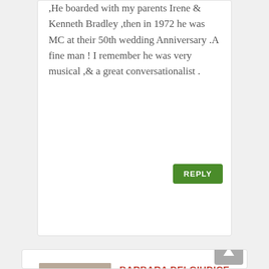,He boarded with my parents Irene & Kenneth Bradley ,then in 1972 he was MC at their 50th wedding Anniversary .A fine man ! I remember he was very musical ,& a great conversationalist .
REPLY
[Figure (photo): Portrait photo of a woman smiling]
BARBARA DELGIUDICE
May 24, 2017 at 6:26 pm
Do not stand at my grave and weep
I am not there. I do not sleep.
I am a thousand winds that blow.
I am the diamond glints on snow.
I am the sunlight on ripened grain.
I am the gentle autumn rain.
When you awaken in the morning's hush
I am the swift uplifting rush.